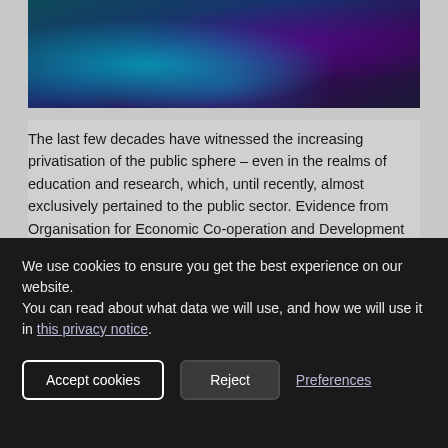[Figure (photo): Concert or event photo with blue and purple stage lighting, figures visible in foreground against dark background]
The last few decades have witnessed the increasing privatisation of the public sphere – even in the realms of education and research, which, until recently, almost exclusively pertained to the public sector. Evidence from Organisation for Economic Co-operation and Development (OECD) countries shows that the slow but steady increase in private sector Research & Development (R&D) expenditure
We use cookies to ensure you get the best experience on our website.
You can read about what data we will use, and how we will use it in this privacy notice.